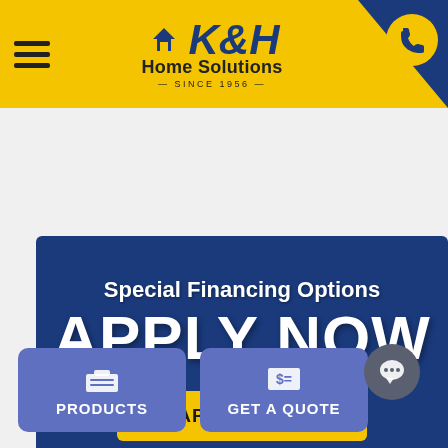[Figure (logo): K&H Home Solutions logo with hamburger menu and phone button on yellow header]
Special Financing Options
APPLY NOW
APPLY HERE
PRODUCTS
GET A QUOTE